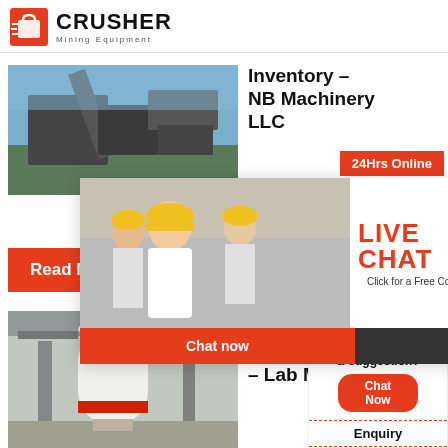CRUSHER Mining Equipment
[Figure (photo): Industrial mining/conveyor equipment photo]
Inventory - NB Machinery LLC
24Hrs Online
[Figure (photo): Live Chat popup with workers in hard hats and customer service agent]
LIVE CHAT
Click for a Free Consultation
Chat now
Chat later
Read More
Need questions & suggestion?
Chat Now
Enquiry
limingjlmofen@sina.com
[Figure (photo): Industrial grinding mill equipment in factory]
Medical Grinding Mills - Lab Mills